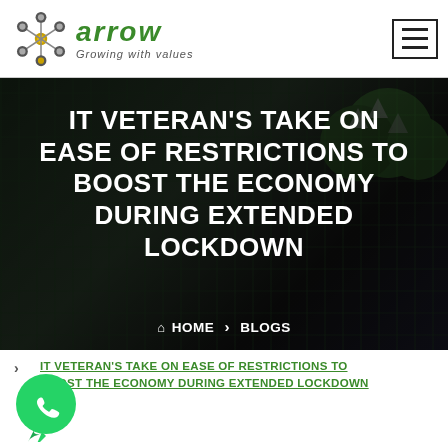[Figure (logo): Arrow company logo with network icon and 'Growing with values' tagline]
[Figure (screenshot): Hero image background showing server room / digital technology overlay with dark overlay]
IT VETERAN'S TAKE ON EASE OF RESTRICTIONS TO BOOST THE ECONOMY DURING EXTENDED LOCKDOWN
HOME > BLOGS
IT VETERAN'S TAKE ON EASE OF RESTRICTIONS TO BOOST THE ECONOMY DURING EXTENDED LOCKDOWN
[Figure (illustration): WhatsApp green phone bubble icon]